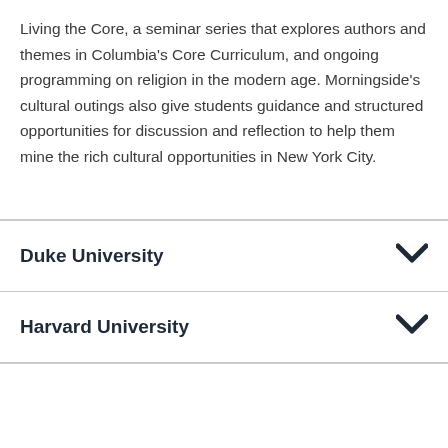Living the Core, a seminar series that explores authors and themes in Columbia's Core Curriculum, and ongoing programming on religion in the modern age. Morningside's cultural outings also give students guidance and structured opportunities for discussion and reflection to help them mine the rich cultural opportunities in New York City.
Duke University
Harvard University